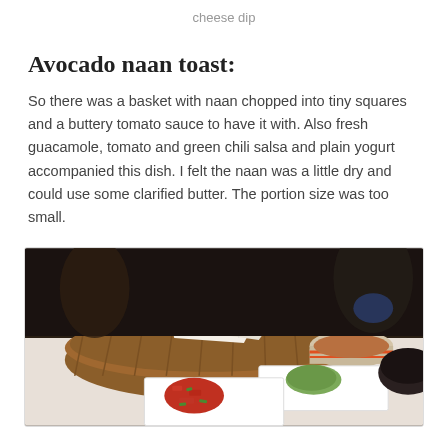cheese dip
Avocado naan toast:
So there was a basket with naan chopped into tiny squares and a buttery tomato sauce to have it with. Also fresh guacamole, tomato and green chili salsa and plain yogurt accompanied this dish. I felt the naan was a little dry and could use some clarified butter. The portion size was too small.
[Figure (photo): A wicker basket with napkin on a restaurant table, accompanied by small white dishes containing guacamole and tomato salsa, with a bowl of sauce in the background.]